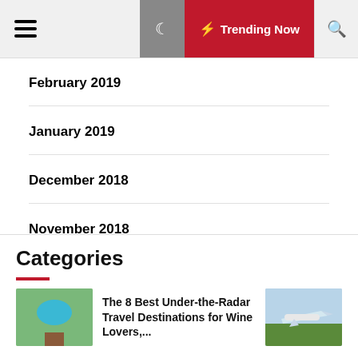Trending Now
February 2019
January 2019
December 2018
November 2018
December 2016
Categories
The 8 Best Under-the-Radar Travel Destinations for Wine Lovers,...